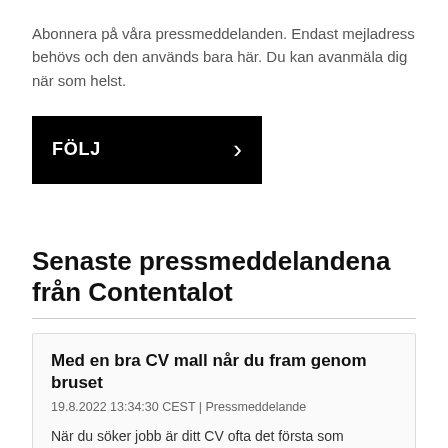Abonnera på våra pressmeddelanden. Endast mejladress behövs och den används bara här. Du kan avanmäla dig när som helst.
[Figure (other): Black button with white text 'FÖLJ' and a right-pointing chevron arrow]
Senaste pressmeddelandena från Contentalot
Med en bra CV mall når du fram genom bruset
19.8.2022 13:34:30 CEST | Pressmeddelande
När du söker jobb är ditt CV ofta det första som potentiella arbetsgivare ser. Därför är det viktigt att ditt CV sticker ut från mängden. Tyvärr kan detta vara svårt med tanke på det stora